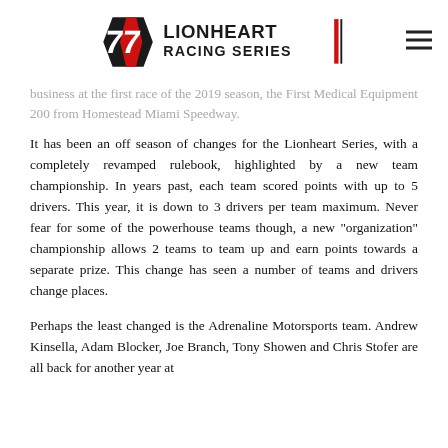Lionheart Racing Series logo and navigation
business at the first race of the 2019 season, the First Medical Equipment 200 from Homestead Miami Speedway.
It has been an off season of changes for the Lionheart Series, with a completely revamped rulebook, highlighted by a new team championship. In years past, each team scored points with up to 5 drivers. This year, it is down to 3 drivers per team maximum. Never fear for some of the powerhouse teams though, a new “organization” championship allows 2 teams to team up and earn points towards a separate prize. This change has seen a number of teams and drivers change places.
Perhaps the least changed is the Adrenaline Motorsports team. Andrew Kinsella, Adam Blocker, Joe Branch, Tony Showen and Chris Stofer are all back for another year at